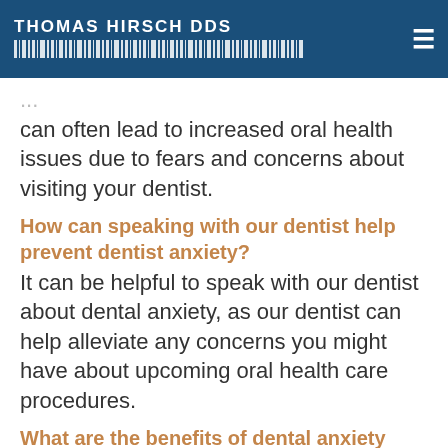THOMAS HIRSCH DDS
can often lead to increased oral health issues due to fears and concerns about visiting your dentist.
How can speaking with our dentist help prevent dentist anxiety?
It can be helpful to speak with our dentist about dental anxiety, as our dentist can help alleviate any concerns you might have about upcoming oral health care procedures.
What are the benefits of dental anxiety treatments?
Dental anxiety treatments are designed to help lower your stress levels and improve the